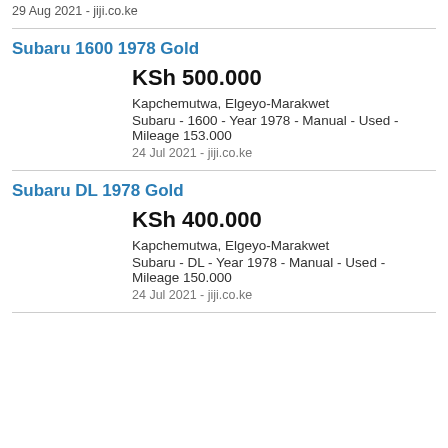29 Aug 2021 - jiji.co.ke
Subaru 1600 1978 Gold
KSh 500.000
Kapchemutwa, Elgeyo-Marakwet
Subaru - 1600 - Year 1978 - Manual - Used - Mileage 153.000
24 Jul 2021 - jiji.co.ke
Subaru DL 1978 Gold
KSh 400.000
Kapchemutwa, Elgeyo-Marakwet
Subaru - DL - Year 1978 - Manual - Used - Mileage 150.000
24 Jul 2021 - jiji.co.ke